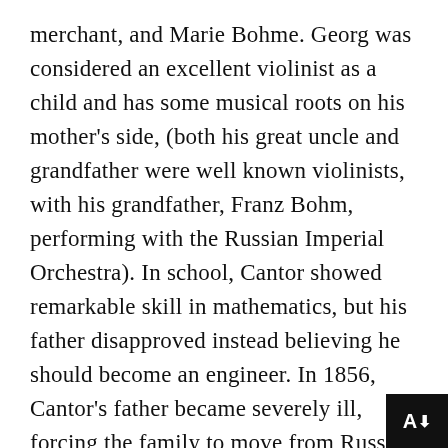merchant, and Marie Bohme. Georg was considered an excellent violinist as a child and has some musical roots on his mother's side, (both his great uncle and grandfather were well known violinists, with his grandfather, Franz Bohm, performing with the Russian Imperial Orchestra). In school, Cantor showed remarkable skill in mathematics, but his father disapproved instead believing he should become an engineer. In 1856, Cantor's father became severely ill, forcing the family to move from Russia to Germany, (due to the severely cold winters in St. Petersburg), where Cantor would spend the remainder of his life.